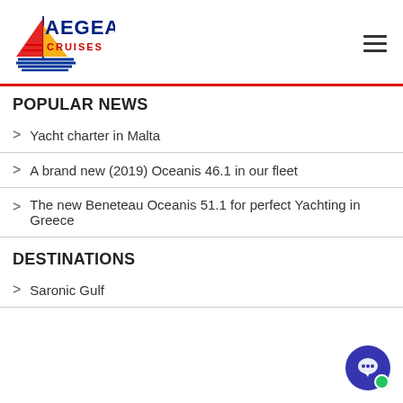[Figure (logo): Aegean Cruises logo with sailboat graphic and company name]
POPULAR NEWS
Yacht charter in Malta
A brand new (2019) Oceanis 46.1 in our fleet
The new Beneteau Oceanis 51.1 for perfect Yachting in Greece
DESTINATIONS
Saronic Gulf